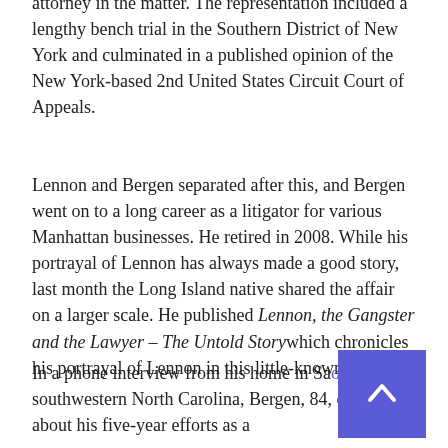attorney in the matter. The representation included a lengthy bench trial in the Southern District of New York and culminated in a published opinion of the New York-based 2nd United States Circuit Court of Appeals.
Lennon and Bergen separated after this, and Bergen went on to a long career as a litigator for various Manhattan businesses. He retired in 2008. While his portrayal of Lennon has always made a good story, last month the Long Island native shared the affair on a larger scale. He published Lennon, the Gangster and the Lawyer – The Untold Story which chronicles his portrayal of Lennon in this little-known case.
In a phone interview from his home in Sa[ola], southwestern North Carolina, Bergen, 84, opened up about his five-year efforts as a